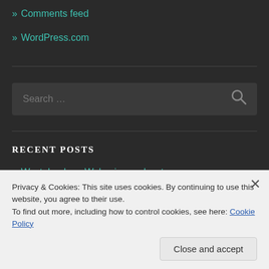» Comments feed
» WordPress.com
[Figure (other): Search box with placeholder text 'Search ...' and a search icon on the right]
RECENT POSTS
» Wastelanders: Wolverine podcast
Privacy & Cookies: This site uses cookies. By continuing to use this website, you agree to their use. To find out more, including how to control cookies, see here: Cookie Policy
Close and accept